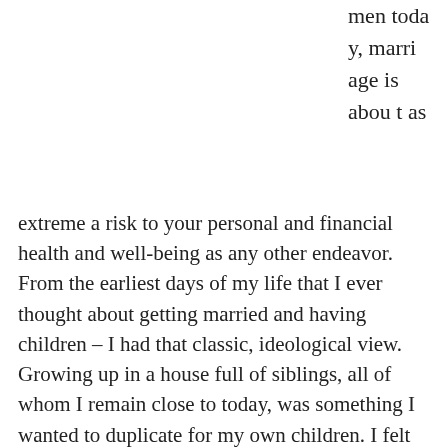men today, marriage is about as extreme a risk to your personal and financial health and well-being as any other endeavor.  From the earliest days of my life that I ever thought about getting married and having children – I had that classic, ideological view. Growing up in a house full of siblings, all of whom I remain close to today, was something I wanted to duplicate for my own children.  I felt this way even though my own parents marriage failed, albeit ending in my teen years when I was better able to process the whats, the hows, and the whys.

However, going through my own personal situation